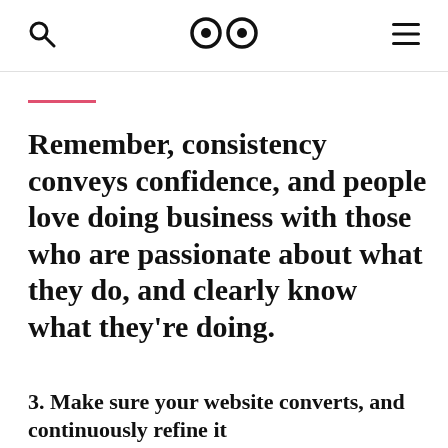🔍  👀  ☰
Remember, consistency conveys confidence, and people love doing business with those who are passionate about what they do, and clearly know what they're doing.
3. Make sure your website converts, and continuously refine it